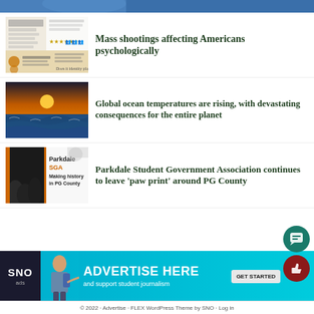[Figure (photo): Cropped top image showing a person in blue]
[Figure (photo): Infographic thumbnail about mass shootings affecting Americans psychologically]
Mass shootings affecting Americans psychologically
[Figure (photo): Ocean sunset photo with waves]
Global ocean temperatures are rising, with devastating consequences for the entire planet
[Figure (photo): Parkdale SGA Making history in PG County]
Parkdale Student Government Association continues to leave 'paw print' around PG County
[Figure (infographic): SNO ads banner: ADVERTISE HERE and support student journalism]
© 2022 · Advertise · FLEX WordPress Theme by SNO · Log in